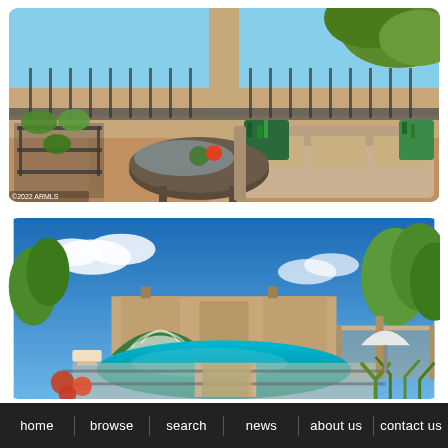[Figure (photo): Outdoor balcony/patio scene with wicker furniture, a sofa with tropical print pillows, a glass-top coffee table, decorative plants in iron shelving, and a railing overlooking a neighborhood. Sunny day with blue sky and trees visible.]
[Figure (photo): Outdoor community pool area with a large turquoise swimming pool, lounge chairs, striped umbrellas, desert flowers, palm trees, a pergola/shade structure, and stucco residential buildings in the background under a blue sky with clouds.]
home   browse   search   news   about us   contact us